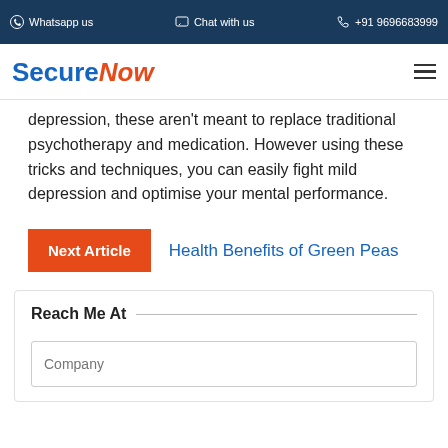Whatsapp us   Chat with us   +91 9696683999
[Figure (logo): SecureNow logo with blue 'Secure' and orange italic 'Now' text]
depression, these aren't meant to replace traditional psychotherapy and medication. However using these tricks and techniques, you can easily fight mild depression and optimise your mental performance.
Next Article   Health Benefits of Green Peas
Reach Me At
Company